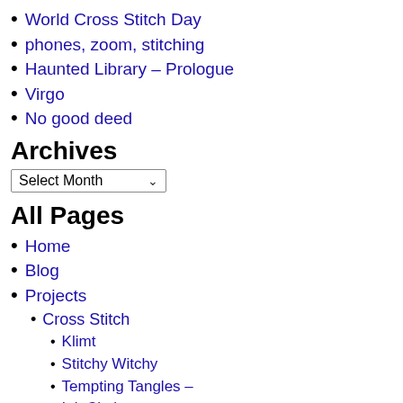World Cross Stitch Day
phones, zoom, stitching
Haunted Library – Prologue
Virgo
No good deed
Archives
Select Month
All Pages
Home
Blog
Projects
Cross Stitch
Klimt
Stitchy Witchy
Tempting Tangles –
Ink Circles
MagicalQuilts SALs
Heartstrings Sampler
HAED
Farewell to Anger
Dragonlings